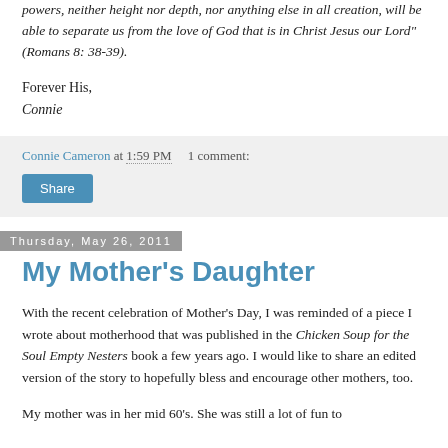powers, neither height nor depth, nor anything else in all creation, will be able to separate us from the love of God that is in Christ Jesus our Lord" (Romans 8: 38-39).
Forever His,
Connie
Connie Cameron at 1:59 PM    1 comment:
Share
Thursday, May 26, 2011
My Mother's Daughter
With the recent celebration of Mother's Day, I was reminded of a piece I wrote about motherhood that was published in the Chicken Soup for the Soul Empty Nesters book a few years ago. I would like to share an edited version of the story to hopefully bless and encourage other mothers, too.
My mother was in her mid 60's. She was still a lot of fun to